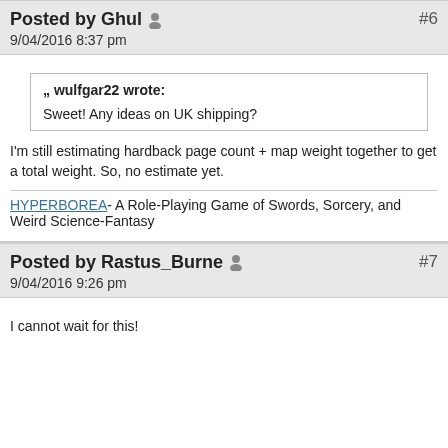Posted by Ghul  9/04/2016 8:37 pm  #6
wulfgar22 wrote:
Sweet! Any ideas on UK shipping?
I'm still estimating hardback page count + map weight together to get a total weight. So, no estimate yet.
HYPERBOREA- A Role-Playing Game of Swords, Sorcery, and Weird Science-Fantasy
Posted by Rastus_Burne  9/04/2016 9:26 pm  #7
I cannot wait for this!